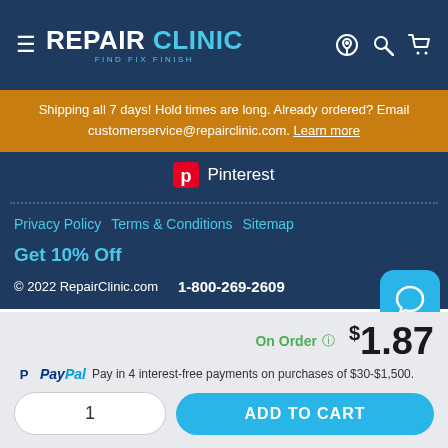RepairClinic - FIND FIX FINISH
Shipping all 7 days! Hold times are long. Already ordered? Email customerservice@repairclinic.com. Learn more
Pinterest
Privacy Policy  Terms & Conditions  Sitemap
Get 10% Off
© 2022 RepairClinic.com   1-800-269-2609
On Order  $1.87
PayPal Pay in 4 interest-free payments on purchases of $30-$1,500.
1
ADD TO CART